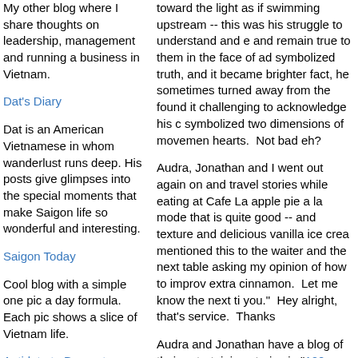My other blog where I share thoughts on leadership, management and running a business in Vietnam.
Dat's Diary
Dat is an American Vietnamese in whom wanderlust runs deep. His posts give glimpses into the special moments that make Saigon life so wonderful and interesting.
Saigon Today
Cool blog with a simple one pic a day formula. Each pic shows a slice of Vietnam life.
Antidote to Burnout
American guy who spent time in Saigon in the early '70s and has returned. Interesting perspective as he
toward the light as if swimming upstream -- this was his struggle to understand and e and remain true to them in the face of ad symbolized truth, and it became brighter fact, he sometimes turned away from the found it challenging to acknowledge his c symbolized two dimensions of movemen hearts.  Not bad eh?
Audra, Jonathan and I went out again on and travel stories while eating at Cafe La apple pie a la mode that is quite good -- and texture and delicious vanilla ice crea mentioned this to the waiter and the next table asking my opinion of how to improv extra cinnamon.  Let me know the next ti you."  Hey alright, that's service.  Thanks
Audra and Jonathan have a blog of their entertaining stories in "100 Days in Asia. entries.  It's funny to hear their different p disagreements get aired in this public for form and you'll see what I mean.
Thanks for sending Jonathan and Audra